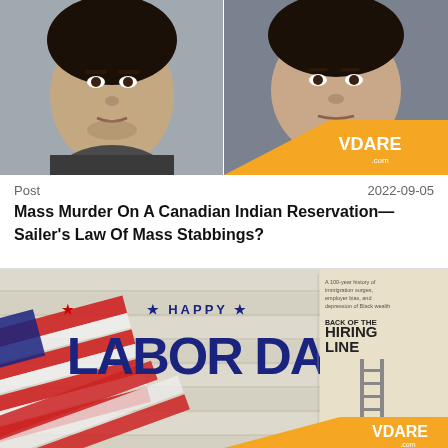[Figure (photo): Top half: two mugshot-style photos side by side. Left photo shows a young man facing forward against a light background. Right photo shows another young man facing forward. Orange VDARE.com logo badge in bottom-right corner of right photo.]
Post    2022-09-05
Mass Murder On A Canadian Indian Reservation—Sailer's Law Of Mass Stabbings?
[Figure (photo): Bottom half: Happy Labor Day image with American flag draped on wooden background, large dark blue text reading HAPPY LABOR DAY with red stars. Right side shows a book cover 'Back of the Hiring Line' by Roy Beck. Orange VDARE.com badge in bottom-right.]